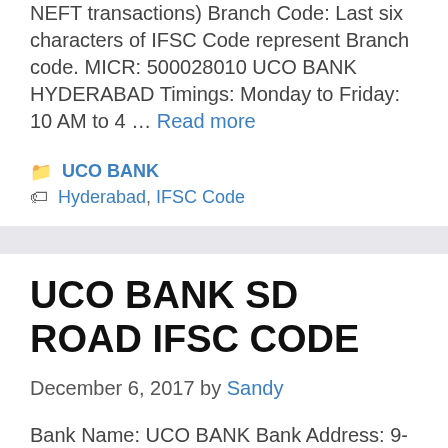NEFT transactions) Branch Code: Last six characters of IFSC Code represent Branch code. MICR: 500028010 UCO BANK HYDERABAD Timings: Monday to Friday: 10 AM to 4 … Read more
UCO BANK
Hyderabad, IFSC Code
UCO BANK SD ROAD IFSC CODE
December 6, 2017 by Sandy
Bank Name: UCO BANK Bank Address: 9-1-38